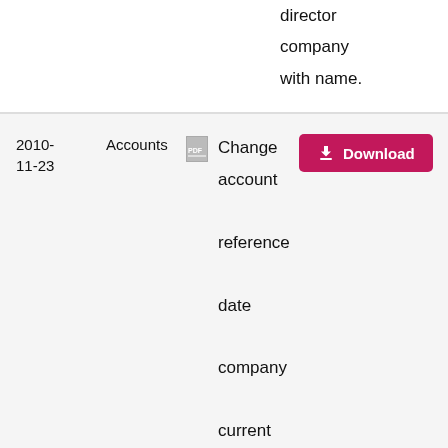director company with name.
| Date | Type |  | Description | Action |
| --- | --- | --- | --- | --- |
| 2010-11-23 | Accounts |  | Change account reference date company current extended. | Download |
| 2010-07-08 | Resolution |  | Resolution. | Download |